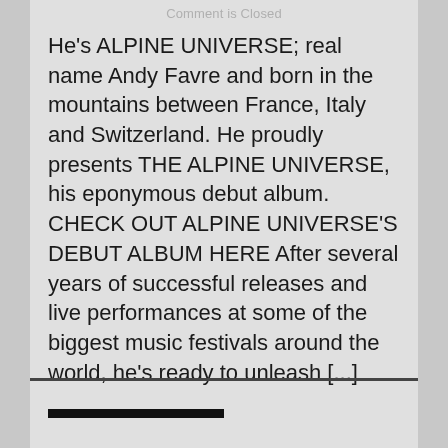Comment is Closed
He's ALPINE UNIVERSE; real name Andy Favre and born in the mountains between France, Italy and Switzerland. He proudly presents THE ALPINE UNIVERSE, his eponymous debut album. CHECK OUT ALPINE UNIVERSE'S DEBUT ALBUM HERE After several years of successful releases and live performances at some of the biggest music festivals around the world, he's ready to unleash [...]
READ MORE